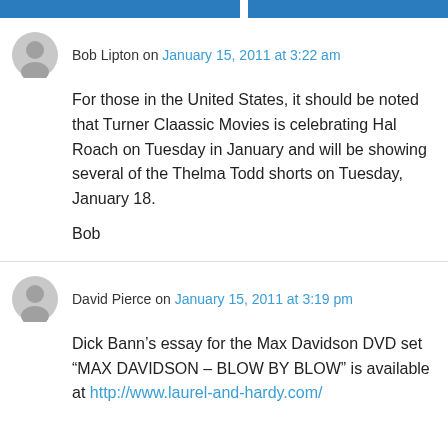[Figure (other): Two blue navigation/header bars at the top of the page]
Bob Lipton on January 15, 2011 at 3:22 am
For those in the United States, it should be noted that Turner Claassic Movies is celebrating Hal Roach on Tuesday in January and will be showing several of the Thelma Todd shorts on Tuesday, January 18.

Bob
David Pierce on January 15, 2011 at 3:19 pm
Dick Bann's essay for the Max Davidson DVD set “MAX DAVIDSON – BLOW BY BLOW” is available at http://www.laurel-and-hardy.com/